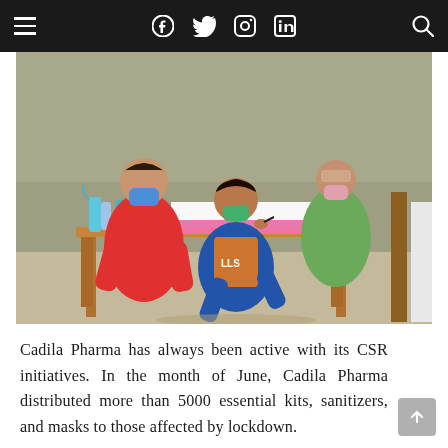Navigation bar with hamburger menu, Facebook, Twitter, Instagram, LinkedIn icons, and search icon
[Figure (photo): Outdoor scene during COVID-19 pandemic: A woman in a red top and blue face mask sits at a wooden table. A young boy wearing a blue Nike long-sleeve shirt and an orange vest with 'LLS' printed on it leans over the table signing a document. A spray bottle, hand sanitizer, and water bottle are on the table. In the background, a man in a green shirt wearing a pink face mask stands watching, along with another person partially visible on the right.]
Cadila Pharma has always been active with its CSR initiatives. In the month of June, Cadila Pharma distributed more than 5000 essential kits, sanitizers, and masks to those affected by lockdown.